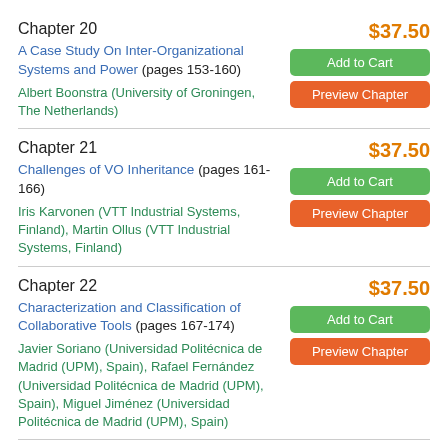Chapter 20
A Case Study On Inter-Organizational Systems and Power (pages 153-160)
Albert Boonstra (University of Groningen, The Netherlands)
$37.50
Chapter 21
Challenges of VO Inheritance (pages 161-166)
Iris Karvonen (VTT Industrial Systems, Finland), Martin Ollus (VTT Industrial Systems, Finland)
$37.50
Chapter 22
Characterization and Classification of Collaborative Tools (pages 167-174)
Javier Soriano (Universidad Politécnica de Madrid (UPM), Spain), Rafael Fernández (Universidad Politécnica de Madrid (UPM), Spain), Miguel Jiménez (Universidad Politécnica de Madrid (UPM), Spain)
$37.50
Chapter 23
$37.50